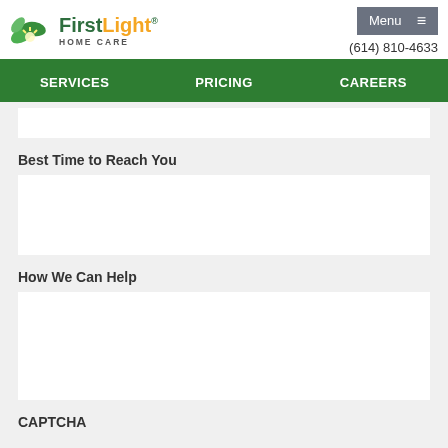FirstLight Home Care — Menu — (614) 810-4633
SERVICES  PRICING  CAREERS
Best Time to Reach You
How We Can Help
CAPTCHA